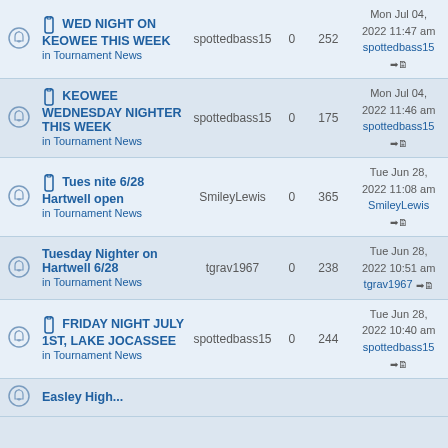|  | Topic | Author | Replies | Views | Last post |
| --- | --- | --- | --- | --- | --- |
| (bell) | WED NIGHT ON KEOWEE THIS WEEK
in Tournament News | spottedbass15 | 0 | 252 | Mon Jul 04, 2022 11:47 am
spottedbass15 |
| (bell) | KEOWEE WEDNESDAY NIGHTER THIS WEEK
in Tournament News | spottedbass15 | 0 | 175 | Mon Jul 04, 2022 11:46 am
spottedbass15 |
| (bell) | Tues nite 6/28 Hartwell open
in Tournament News | SmileyLewis | 0 | 365 | Tue Jun 28, 2022 11:08 am
SmileyLewis |
| (bell) | Tuesday Nighter on Hartwell 6/28
in Tournament News | tgrav1967 | 0 | 238 | Tue Jun 28, 2022 10:51 am
tgrav1967 |
| (bell) | FRIDAY NIGHT JULY 1st, LAKE JOCASSEE
in Tournament News | spottedbass15 | 0 | 244 | Tue Jun 28, 2022 10:40 am
spottedbass15 |
| (bell) | Easley High... |  |  |  |  |